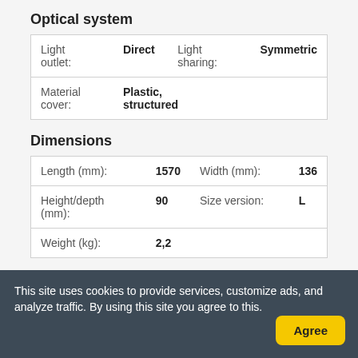Optical system
| Light outlet: | Direct | Light sharing: | Symmetric |
| Material cover: | Plastic, structured |  |  |
Dimensions
| Length (mm): | 1570 | Width (mm): | 136 |
| Height/depth (mm): | 90 | Size version: | L |
| Weight (kg): | 2,2 |  |  |
Electrical values
This site uses cookies to provide services, customize ads, and analyze traffic. By using this site you agree to this.